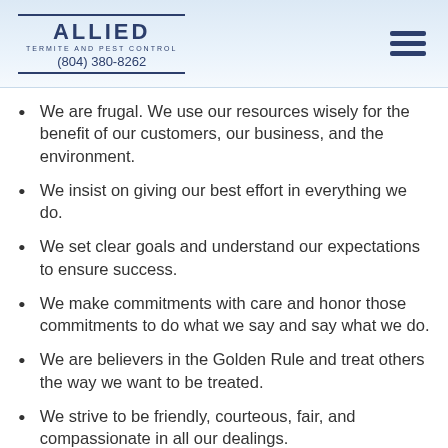ALLIED TERMITE AND PEST CONTROL (804) 380-8262
We are frugal. We use our resources wisely for the benefit of our customers, our business, and the environment.
We insist on giving our best effort in everything we do.
We set clear goals and understand our expectations to ensure success.
We make commitments with care and honor those commitments to do what we say and say what we do.
We are believers in the Golden Rule and treat others the way we want to be treated.
We strive to be friendly, courteous, fair, and compassionate in all our dealings.
We listen to our clients and are responsive to…